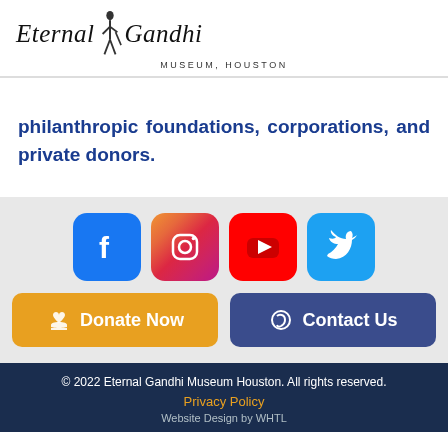[Figure (logo): Eternal Gandhi Museum Houston logo with silhouette figure of Gandhi with walking stick]
philanthropic foundations, corporations, and private donors.
[Figure (infographic): Social media icons row: Facebook, Instagram, YouTube, Twitter. Below: Donate Now button (gold) and Contact Us button (dark blue).]
© 2022 Eternal Gandhi Museum Houston. All rights reserved. Privacy Policy Website Design by WHTL